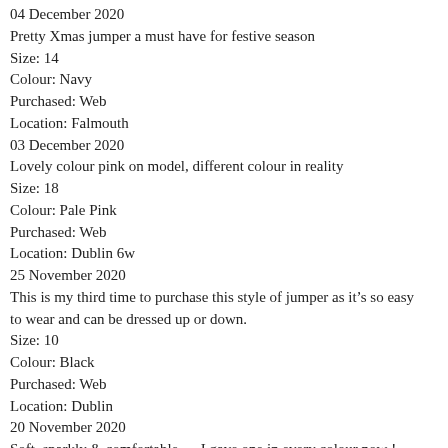04 December 2020
Pretty Xmas jumper a must have for festive season
Size: 14
Colour: Navy
Purchased: Web
Location: Falmouth
03 December 2020
Lovely colour pink on model, different colour in reality
Size: 18
Colour: Pale Pink
Purchased: Web
Location: Dublin 6w
25 November 2020
This is my third time to purchase this style of jumper as it’s so easy to wear and can be dressed up or down.
Size: 10
Colour: Black
Purchased: Web
Location: Dublin
20 November 2020
Soft, sparkly & comfortable..... I gave one in every colour now !
Size: 12
Colour: Oatmeal
Purchased: Web
Location: Wetherby